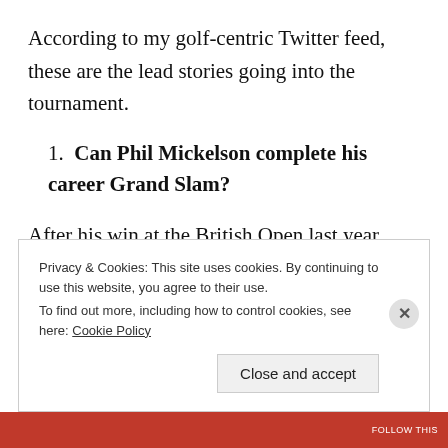According to my golf-centric Twitter feed, these are the lead stories going into the tournament.
Can Phil Mickelson complete his career Grand Slam?
After his win at the British Open last year, Mickelson has now won them all, save for the Open, at which he's finish second an incredible six times, including at
Privacy & Cookies: This site uses cookies. By continuing to use this website, you agree to their use.
To find out more, including how to control cookies, see here: Cookie Policy
Close and accept